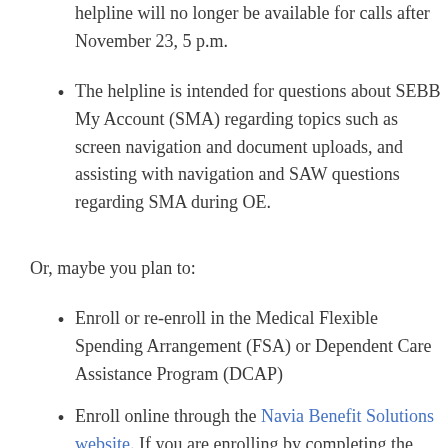helpline will no longer be available for calls after November 23, 5 p.m.
The helpline is intended for questions about SEBB My Account (SMA) regarding topics such as screen navigation and document uploads, and assisting with navigation and SAW questions regarding SMA during OE.
Or, maybe you plan to:
Enroll or re-enroll in the Medical Flexible Spending Arrangement (FSA) or Dependent Care Assistance Program (DCAP)
Enroll online through the Navia Benefit Solutions website. If you are enrolling by completing the paper form, Navia Benefit Solutions must